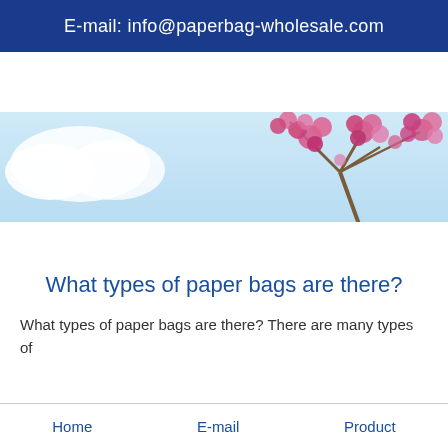E-mail: info@paperbag-wholesale.com
[Figure (photo): Banner photo of pink flowering blossoms (likely lilac) against a light blue sky with a cloud on the left side.]
What types of paper bags are there?
What types of paper bags are there? There are many types of
Home   E-mail   Product